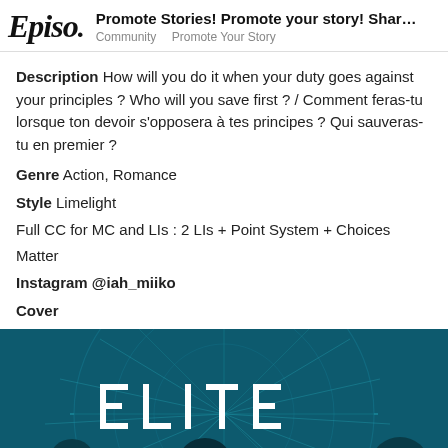Episo. | Promote Stories! Promote your story! Shar... | Community  Promote Your Story
Description How will you do it when your duty goes against your principles ? Who will you save first ? / Comment feras-tu lorsque ton devoir s'opposera à tes principes ? Qui sauveras-tu en premier ?
Genre Action, Romance
Style Limelight
Full CC for MC and LIs : 2 LIs + Point System + Choices Matter
Instagram @iah_miiko
Cover
[Figure (illustration): Cover image for a story called ELITE. Dark teal/blue background with a large circular radar or clock-like design. Silhouettes of people in the foreground. The word ELITE is displayed in stylized block letters with dashes in the center of each letter. Counter badge shows 240 / 288.]